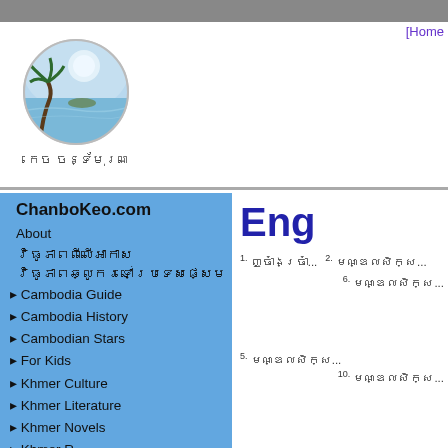[Home
[Figure (logo): Circular logo with tropical beach scene (palm trees, water, island, moonlight) with Khmer script text below reading 'កេច ចន្ទ័មុរណ']
ChanboKeo.com
About
វិធូភាពពីលើអាកាស
វិធូភាពឆ្លូករទៅប្រទេសផ្សេម
▸ Cambodia Guide
▸ Cambodia History
▸ Cambodian Stars
▸ For Kids
▸ Khmer Culture
▸ Khmer Literature
▸ Khmer Novels
▸ Khmer R...
Eng
1. ញ្ចាំងច្រាំ...
2. មណ្ឌលសិក្ស...
6. មណ្ឌលសិក្ស...
5. មណ្ឌលសិក្ស...
10. មណ្ឌលសិក្ស...